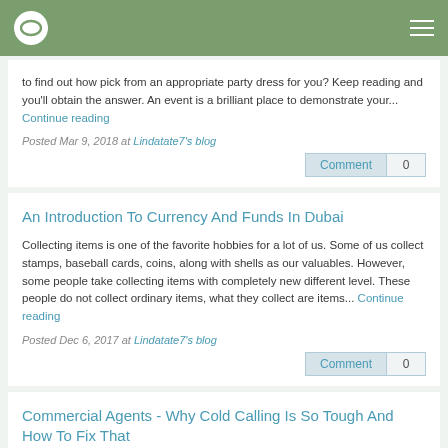Lindatate7's blog (navigation bar)
to find out how pick from an appropriate party dress for you? Keep reading and you'll obtain the answer. An event is a brilliant place to demonstrate your... Continue reading
Posted Mar 9, 2018 at Lindatate7's blog
An Introduction To Currency And Funds In Dubai
Collecting items is one of the favorite hobbies for a lot of us. Some of us collect stamps, baseball cards, coins, along with shells as our valuables. However, some people take collecting items with completely new different level. These people do not collect ordinary items, what they collect are items... Continue reading
Posted Dec 6, 2017 at Lindatate7's blog
Commercial Agents - Why Cold Calling Is So Tough And How To Fix That
Buying might not be house is actually exciting experience, but you are able to be a pricy one. Lots of people make the mistake of letting their desires dictate their budget without the other way